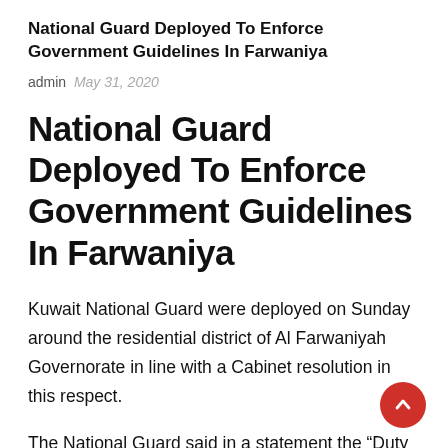National Guard Deployed To Enforce Government Guidelines In Farwaniya
admin  May 31, 2020
National Guard Deployed To Enforce Government Guidelines In Farwaniya
Kuwait National Guard were deployed on Sunday around the residential district of Al Farwaniyah Governorate in line with a Cabinet resolution in this respect.
The National Guard said in a statement the “Duty Force Al-Sanad” was stationed around the district, implementing a Government